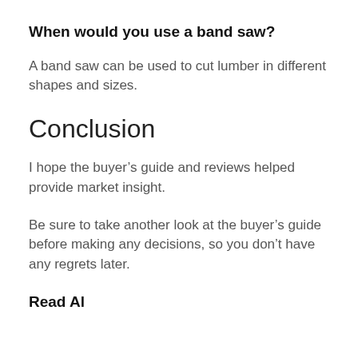When would you use a band saw?
A band saw can be used to cut lumber in different shapes and sizes.
Conclusion
I hope the buyer’s guide and reviews helped provide market insight.
Be sure to take another look at the buyer’s guide before making any decisions, so you don’t have any regrets later.
Read Also